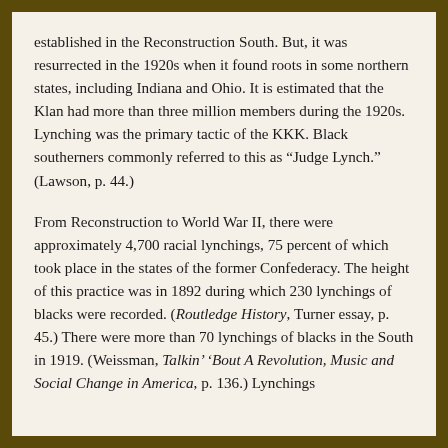established in the Reconstruction South. But, it was resurrected in the 1920s when it found roots in some northern states, including Indiana and Ohio. It is estimated that the Klan had more than three million members during the 1920s. Lynching was the primary tactic of the KKK. Black southerners commonly referred to this as “Judge Lynch.” (Lawson, p. 44.)
From Reconstruction to World War II, there were approximately 4,700 racial lynchings, 75 percent of which took place in the states of the former Confederacy. The height of this practice was in 1892 during which 230 lynchings of blacks were recorded. (Routledge History, Turner essay, p. 45.) There were more than 70 lynchings of blacks in the South in 1919. (Weissman, Talkin’ ‘Bout A Revolution, Music and Social Change in America, p. 136.) Lynchings